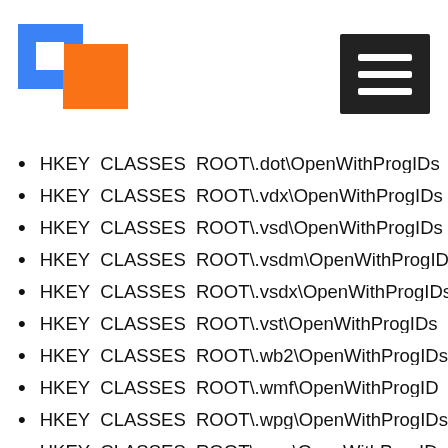[Figure (logo): Blue and orange square logo in top left]
[Figure (other): Hamburger menu icon (three white lines on dark background) in top right]
HKEY_CLASSES_ROOT\.dot\OpenWithProgIDs
HKEY_CLASSES_ROOT\.vdx\OpenWithProgIDs
HKEY_CLASSES_ROOT\.vsd\OpenWithProgIDs
HKEY_CLASSES_ROOT\.vsdm\OpenWithProgID
HKEY_CLASSES_ROOT\.vsdx\OpenWithProgIDs
HKEY_CLASSES_ROOT\.vst\OpenWithProgIDs
HKEY_CLASSES_ROOT\.wb2\OpenWithProgIDs
HKEY_CLASSES_ROOT\.wmf\OpenWithProgIDs
HKEY_CLASSES_ROOT\.wpg\OpenWithProgIDs
HKEY_CLASSES_ROOT\.wps\OpenWithProgIDs
HKEY_CLASSES_ROOT\.xbm\OpenWithProgID
HKEY_CLASSES_ROOT\.xls\OpenWithProgIDs
HKEY_CLASSES_ROOT\.xlsb\OpenWithProgIDs
HKEY_CLASSES_ROOT\.xlsm\OpenWithProgID
HKEY_CLASSES_ROOT\.xlsx\OpenWithProgIDs
HKEY_CLASSES_ROOT\.xlt\OpenWithProgIDs